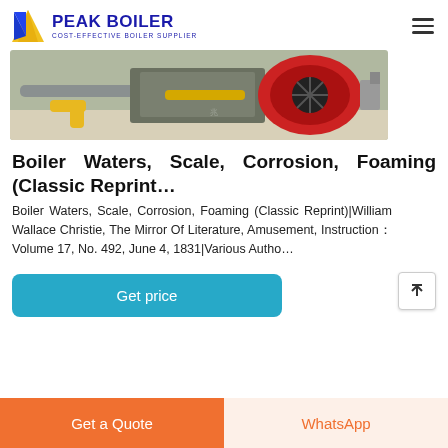PEAK BOILER — COST-EFFECTIVE BOILER SUPPLIER
[Figure (photo): Industrial boiler equipment photo showing yellow pipes, grey machinery and a red burner fan unit in a factory setting.]
Boiler Waters, Scale, Corrosion, Foaming (Classic Reprint…
Boiler Waters, Scale, Corrosion, Foaming (Classic Reprint)|William Wallace Christie, The Mirror Of Literature, Amusement, Instruction：Volume 17, No. 492, June 4, 1831|Various Autho…
Get price
Get a Quote
WhatsApp